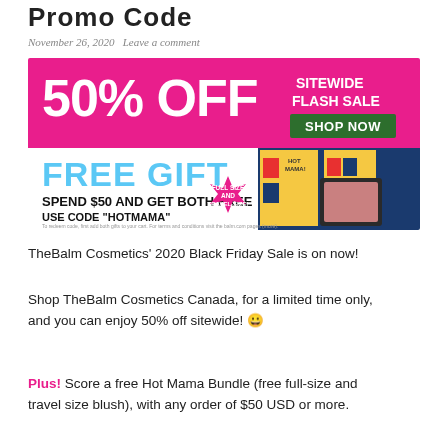Promo Code
November 26, 2020   Leave a comment
[Figure (infographic): TheBalm Cosmetics promotional banner showing 50% OFF Sitewide Flash Sale with Shop Now button, and Free Gift offer: Spend $50 and get both free, use code HOTMAMA, showing Hot Mama blush products (full size and travel-size).]
TheBalm Cosmetics' 2020 Black Friday Sale is on now!
Shop TheBalm Cosmetics Canada, for a limited time only, and you can enjoy 50% off sitewide! 😀
Plus! Score a free Hot Mama Bundle (free full-size and travel size blush), with any order of $50 USD or more.